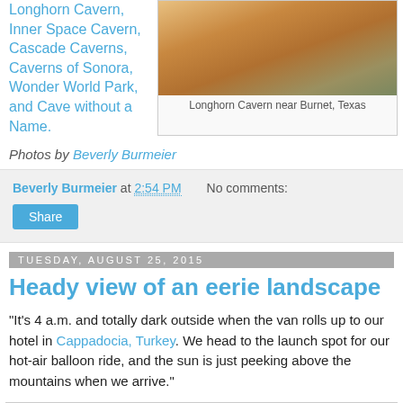Longhorn Cavern, Inner Space Cavern, Cascade Caverns, Caverns of Sonora, Wonder World Park, and Cave without a Name.
[Figure (photo): Close-up photo of cave formations at Longhorn Cavern near Burnet, Texas - orange and golden colored stalactites/stalagmites]
Longhorn Cavern near Burnet, Texas
Photos by Beverly Burmeier
Beverly Burmeier at 2:54 PM   No comments:
Share
Tuesday, August 25, 2015
Heady view of an eerie landscape
"It's 4 a.m. and totally dark outside when the van rolls up to our hotel in Cappadocia, Turkey. We head to the launch spot for our hot-air balloon ride, and the sun is just peeking above the mountains when we arrive."
[Figure (photo): Partial photo of hot-air balloon or landscape scene in Cappadocia, Turkey]